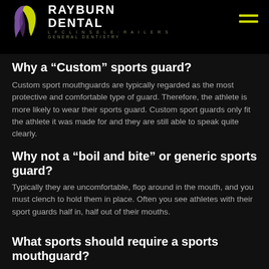[Figure (logo): Rayburn Dental logo with purple and lime green tooth icon and white text 'Rayburn Dental' with tagline 'General Dentistry']
Why a “Custom” sports guard?
Custom sport mouthguards are typically regarded as the most protective and comfortable type of guard. Therefore, the athlete is more likely to wear their sports guard. Custom sport guards only fit the athlete it was made for and they are still able to speak quite clearly.
Why not a “boil and bite” or generic sports guard?
Typically they are uncomfortable, flop around in the mouth, and you must clench to hold them in place. Often you see athletes with their sport guards half in, half out of their mouths.
What sports should require a sports mouthguard?